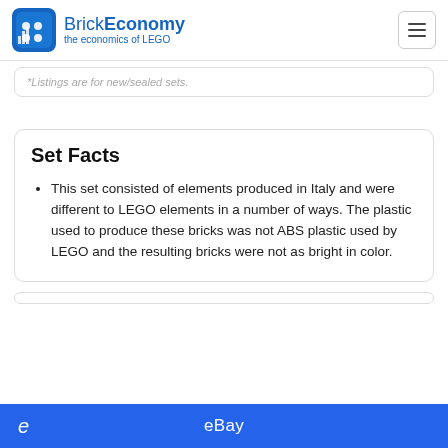BrickEconomy - the economics of LEGO
*Listings are for new/sealed sets.
Set Facts
This set consisted of elements produced in Italy and were different to LEGO elements in a number of ways. The plastic used to produce these bricks was not ABS plastic used by LEGO and the resulting bricks were not as bright in color.
eBay